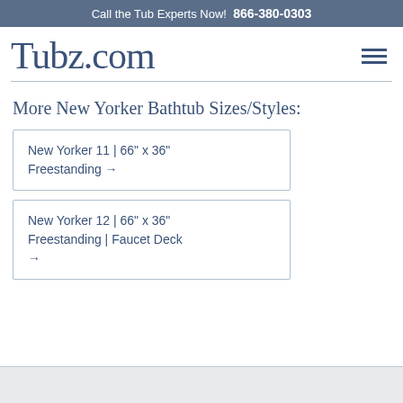Call the Tub Experts Now! 866-380-0303
Tubz.com
More New Yorker Bathtub Sizes/Styles:
New Yorker 11 | 66" x 36" Freestanding →
New Yorker 12 | 66" x 36" Freestanding | Faucet Deck →